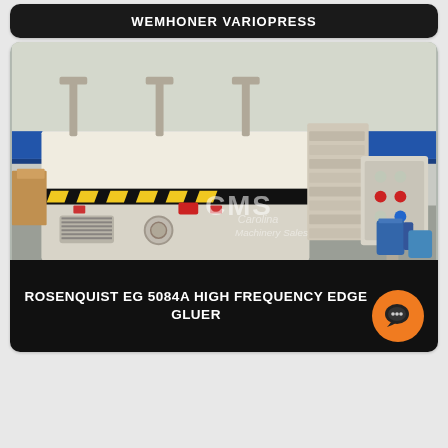WEMHONER VARIOPRESS
[Figure (photo): Industrial edge gluing machine (Rosenquist EG 5084A High Frequency Edge Gluer) photographed in a factory setting. The machine is large, cream/white colored with yellow and black hazard striping, and features a control panel on the right side. A CMS Carolina Machinery Sales watermark is visible on the image.]
ROSENQUIST EG 5084A HIGH FREQUENCY EDGE GLUER